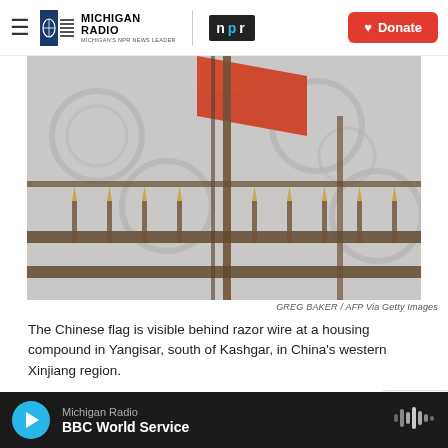Michigan Radio / NPR | Donate
[Figure (photo): A red Chinese flag visible behind razor wire / decorative iron fence at a housing compound in Yangisar, south of Kashgar, in China's western Xinjiang region. The image is blurred/out-of-focus with a grey sky background.]
GREG BAKER / AFP Via Getty Images
The Chinese flag is visible behind razor wire at a housing compound in Yangisar, south of Kashgar, in China's western Xinjiang region.
Experts in China…
Michigan Radio BBC World Service